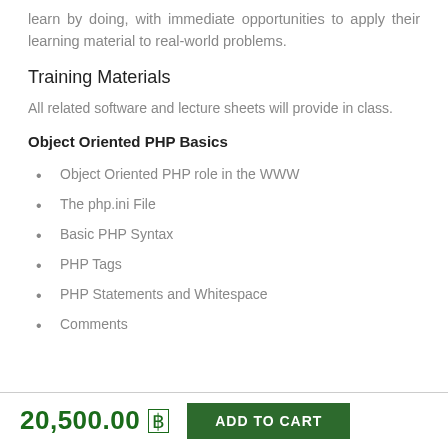learn by doing, with immediate opportunities to apply their learning material to real-world problems.
Training Materials
All related software and lecture sheets will provide in class.
Object Oriented PHP Basics
Object Oriented PHP role in the WWW
The php.ini File
Basic PHP Syntax
PHP Tags
PHP Statements and Whitespace
Comments
20,500.00 ฿  ADD TO CART